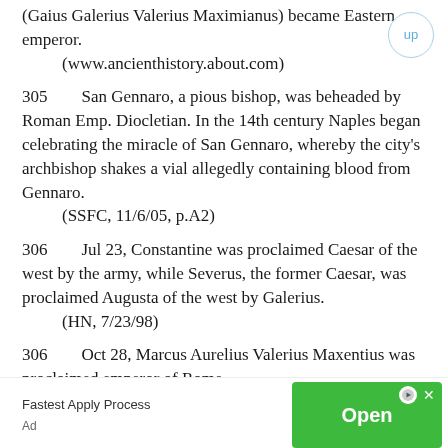(Gaius Galerius Valerius Maximianus) became Eastern emperor.
    (www.ancienthistory.about.com)
305    San Gennaro, a pious bishop, was beheaded by Roman Emp. Diocletian. In the 14th century Naples began celebrating the miracle of San Gennaro, whereby the city's archbishop shakes a vial allegedly containing blood from Gennaro.
    (SSFC, 11/6/05, p.A2)
306    Jul 23, Constantine was proclaimed Caesar of the west by the army, while Severus, the former Caesar, was proclaimed Augusta of the west by Galerius.
    (HN, 7/23/98)
306    Oct 28, Marcus Aurelius Valerius Maxentius was proclaimed emperor of Rome.
    (MC, 10/28/01)
[Figure (other): Advertisement banner: Fastest Apply Process with green Open button and ad icons]